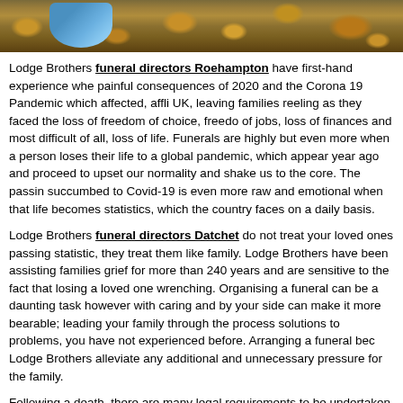[Figure (photo): Autumn leaves on the ground with a partial view of a person in blue clothing, natural outdoor scene]
Lodge Brothers funeral directors Roehampton have first-hand experience whe painful consequences of 2020 and the Corona 19 Pandemic which affected, affli UK, leaving families reeling as they faced the loss of freedom of choice, freedo of jobs, loss of finances and most difficult of all, loss of life. Funerals are highly but even more when a person loses their life to a global pandemic, which appear year ago and proceed to upset our normality and shake us to the core. The passin succumbed to Covid-19 is even more raw and emotional when that life becomes statistics, which the country faces on a daily basis.
Lodge Brothers funeral directors Datchet do not treat your loved ones passing statistic, they treat them like family. Lodge Brothers have been assisting families grief for more than 240 years and are sensitive to the fact that losing a loved one wrenching. Organising a funeral can be a daunting task however with caring and by your side can make it more bearable; leading your family through the process solutions to problems, you have not experienced before. Arranging a funeral bec Lodge Brothers alleviate any additional and unnecessary pressure for the family.
Following a death, there are many legal requirements to be undertaken, such as r Wills & Probate, completion of statutory documentation and liaison with third pa many logistical requirements, such as bringing your loved one into our care, adv decisions such as choosing between burials or cremations and financing the fune offers several options to pay for the funeral and will always provide families wit services and their associated costs to enable families to decide accordingly. Fune and we appreciate that this can present very real difficulty to families who have r